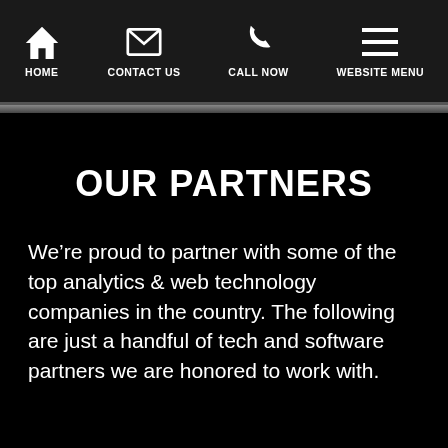HOME  CONTACT US  CALL NOW  WEBSITE MENU
OUR PARTNERS
We’re proud to partner with some of the top analytics & web technology companies in the country. The following are just a handful of tech and software partners we are honored to work with.